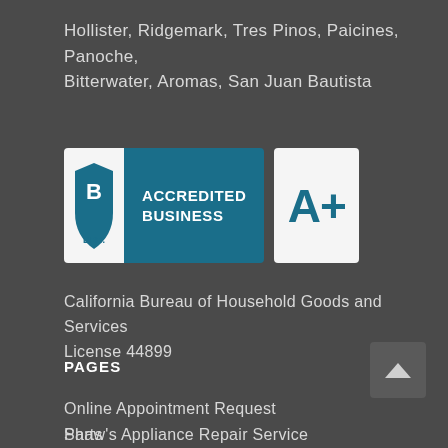Hollister, Ridgemark, Tres Pinos, Paicines, Panoche, Bitterwater, Aromas, San Juan Bautista
[Figure (logo): BBB Accredited Business logo with A+ rating badge]
California Bureau of Household Goods and Services License 44899
PAGES
Online Appointment Request
Parts
Service
Privacy Policy
Shaw's Appliance Repair Service